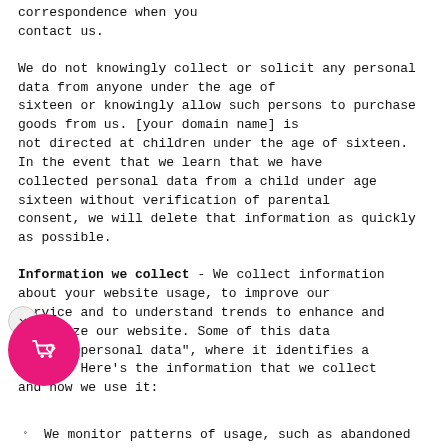correspondence when you contact us.
We do not knowingly collect or solicit any personal data from anyone under the age of sixteen or knowingly allow such persons to purchase goods from us. [your domain name] is not directed at children under the age of sixteen. In the event that we learn that we have collected personal data from a child under age sixteen without verification of parental consent, we will delete that information as quickly as possible.
Information we collect - We collect information about your website usage, to improve our service and to understand trends to enhance and customize our website. Some of this data may be "personal data", where it identifies a person. Here's the information that we collect and how we use it:
We monitor patterns of usage, such as abandoned cart data, so we can understand how what people are interesting in buying from [r store name] to develop and improve our products and [r]stand customer behaviour. [ete this paragraph if you DO NOT use third-party apps to track customer behaviour/cookies] We monitor traffic information, including things like page visits email clicks, referring sites, we use